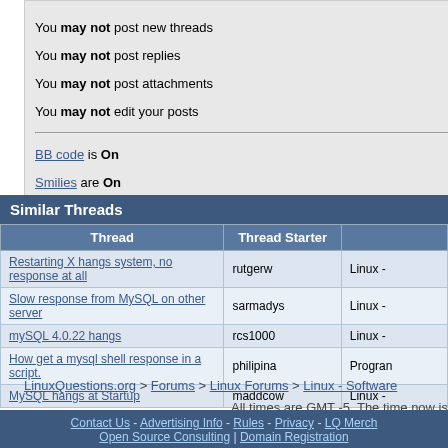You may not post new threads
You may not post replies
You may not post attachments
You may not edit your posts
BB code is On
Smilies are On
[IMG] code is Off
HTML code is Off
Forum Rules
Similar Threads
| Thread | Thread Starter |  |
| --- | --- | --- |
| Restarting X hangs system, no response at all | rutgerw | Linux - |
| Slow response from MySQL on other server | sarmadys | Linux - |
| mySQL 4.0.22 hangs | rcs1000 | Linux - |
| How get a mysql shell response in a script. | philipina | Progran |
| MySQL hangs at Startup | maddcow | Linux - |
LinuxQuestions.org > Forums > Linux Forums > Linux - Software
All times are GMT -5. The time now is
Contact Us - Advertising Info - Rules - Privacy - LQ Merch
Open Source Consulting | Domain Registration